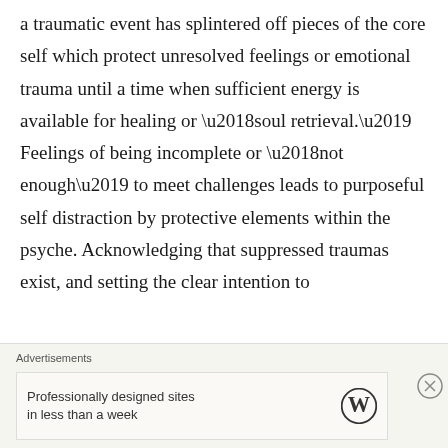a traumatic event has splintered off pieces of the core self which protect unresolved feelings or emotional trauma until a time when sufficient energy is available for healing or ‘soul retrieval.’ Feelings of being incomplete or ‘not enough’ to meet challenges leads to purposeful self distraction by protective elements within the psyche. Acknowledging that suppressed traumas exist, and setting the clear intention to
Advertisements
Professionally designed sites in less than a week